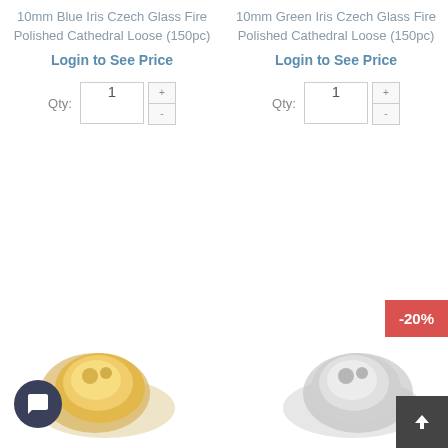10mm Blue Iris Czech Glass Fire Polished Cathedral Loose (150pc)
Login to See Price
Qty: 1
10mm Green Iris Czech Glass Fire Polished Cathedral Loose (150pc)
Login to See Price
Qty: 1
[Figure (photo): Product image bottom left - gold colored jewelry piece]
[Figure (photo): Product image bottom right - silver colored jewelry piece with -20% discount badge]